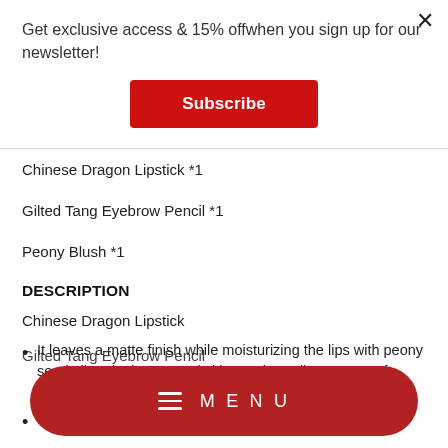Get exclusive access & 15% offwhen you sign up for our newsletter!
Subscribe
Chinese Dragon Lipstick *1
Gilted Tang Eyebrow Pencil *1
Peony Blush *1
DESCRIPTION
Chinese Dragon Lipstick
It leaves a matte finish while moisturizing the lips with peony seed oil and other natural skincare ingredients. Free of chemical preservatives.
Intense color payoff with one swipe
MENU
Gilted Tang Eyebrow Pencil